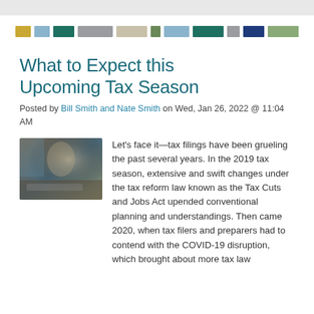[Figure (other): Decorative color strip with rectangular color swatches in gold, light blue, dark teal, gray, beige/tan, olive green, light blue, dark teal, gray, navy, sage green]
What to Expect this Upcoming Tax Season
Posted by Bill Smith and Nate Smith on Wed, Jan 26, 2022 @ 11:04 AM
[Figure (photo): Photo of a person working at a desk with a computer, warm office lighting, hands visible on keyboard]
Let's face it—tax filings have been grueling the past several years. In the 2019 tax season, extensive and swift changes under the tax reform law known as the Tax Cuts and Jobs Act upended conventional planning and understandings. Then came 2020, when tax filers and preparers had to contend with the COVID-19 disruption, which brought about more tax law